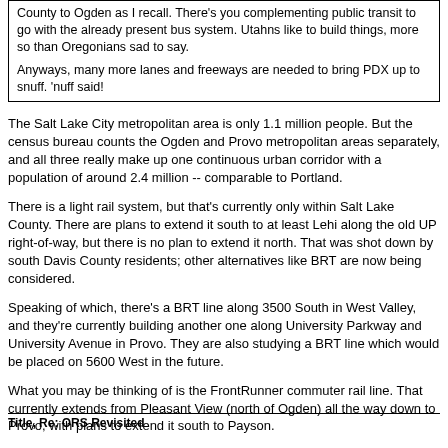County to Ogden as I recall. There's you complementing public transit to go with the already present bus system. Utahns like to build things, more so than Oregonians sad to say.

Anyways, many more lanes and freeways are needed to bring PDX up to snuff. 'nuff said!
The Salt Lake City metropolitan area is only 1.1 million people. But the census bureau counts the Ogden and Provo metropolitan areas separately, and all three really make up one continuous urban corridor with a population of around 2.4 million -- comparable to Portland.
There is a light rail system, but that's currently only within Salt Lake County. There are plans to extend it south to at least Lehi along the old UP right-of-way, but there is no plan to extend it north. That was shot down by south Davis County residents; other alternatives like BRT are now being considered.
Speaking of which, there's a BRT line along 3500 South in West Valley, and they're currently building another one along University Parkway and University Avenue in Provo. They are also studying a BRT line which would be placed on 5600 West in the future.
What you may be thinking of is the FrontRunner commuter rail line. That currently extends from Pleasant View (north of Ogden) all the way down to Provo, with plans to extend it south to Payson.
Title, Re: ORS Revisited